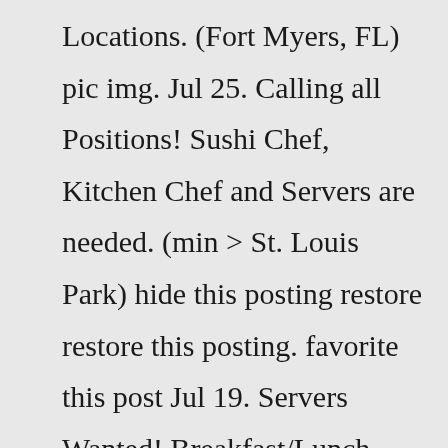Locations. (Fort Myers, FL) pic img. Jul 25. Calling all Positions! Sushi Chef, Kitchen Chef and Servers are needed. (min > St. Louis Park) hide this posting restore restore this posting. favorite this post Jul 19. Servers Wanted! Breakfast/Lunch $25-30/hr. (min > Grand Ave) hide this posting restore restore this posting. favorite this post Jul 19.SERVER ASSISTANT, Host, Barback. Now Hiring! School Food Server